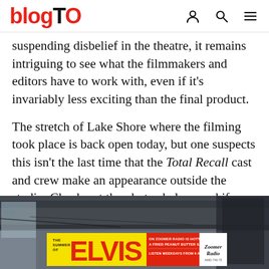blogTO
suspending disbelief in the theatre, it remains intriguing to see what the filmmakers and editors have to work with, even if it's invariably less exciting than the final product.
The stretch of Lake Shore where the filming took place is back open today, but one suspects this isn't the last time that the Total Recall cast and crew make an appearance outside the studio. Check out the photos below, and if you have shots of the production, send them to the blogTO Flickr pool. Lead shot by syfractal.
[Figure (photo): Photo of an underpass or bridge structure with a yellow advertisement banner for 'The Summer of Elvis on Zoomer Radio' at the bottom. The ad says 'ON ZOOMER RADIO IS HOTTER THAN A FRIED PEANUT BUTTER SANDWICH' and 'LISTEN WEEKDAYS FROM 6 AM - 10 AM'.]